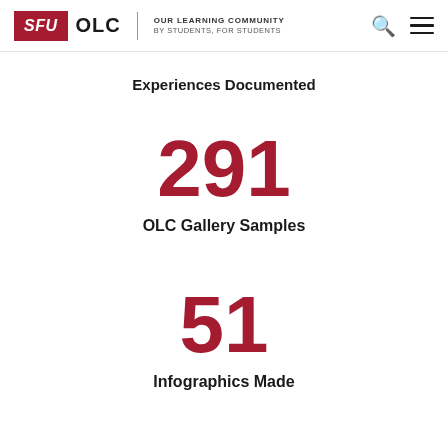SFU OLC | OUR LEARNING COMMUNITY BY STUDENTS, FOR STUDENTS
Experiences Documented
291
OLC Gallery Samples
51
Infographics Made